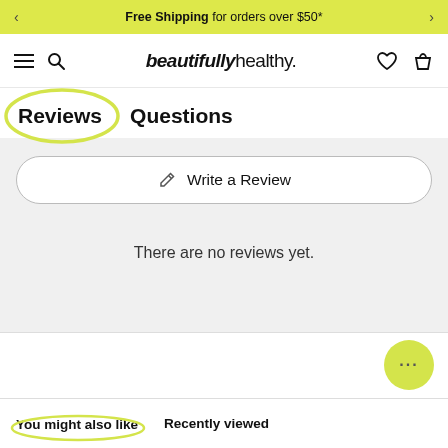Free Shipping for orders over $50*
[Figure (screenshot): Website navigation bar with hamburger menu, search icon, beautifullyhealthy. logo, heart icon, and bag icon]
Reviews   Questions
Write a Review
There are no reviews yet.
You might also like    Recently viewed